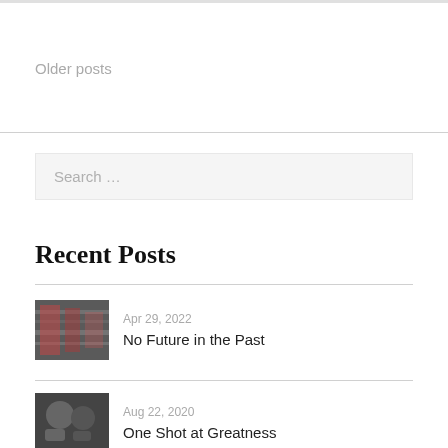Older posts
Search …
Recent Posts
Apr 29, 2022
No Future in the Past
[Figure (photo): Photo thumbnail for 'No Future in the Past' post showing printing press machinery]
Aug 22, 2020
One Shot at Greatness
[Figure (photo): Black and white photo thumbnail for 'One Shot at Greatness' post]